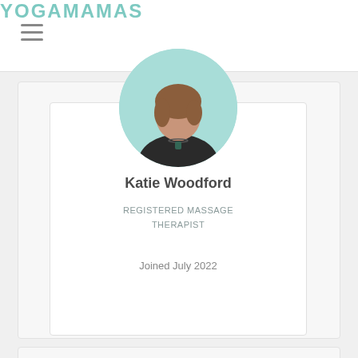YOGAMAMAS
[Figure (photo): Profile photo of Katie Woodford, a woman wearing a black top with a pendant necklace, shown in a circular crop with a light teal/mint background]
Katie Woodford
REGISTERED MASSAGE THERAPIST
Joined July 2022